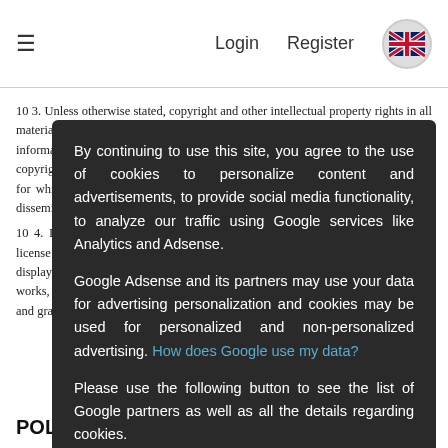≡  Login  Register 🇬🇧
10 3. Unless otherwise stated, copyright and other intellectual property rights in all material on this property of [or authorised by] the owners. Members may post information whether under copyright protection or not. It is identified as copyrighted. Copyright. Except for this information that is in the public domain or for which you have received permission, you may not copy, distribute, display, disseminate, or any such information.
By continuing to use this site, you agree to the use of cookies to personalize content and advertisements, to provide social media functionality, to analyze our traffic using Google services like Analytics and Adsense.

Google Adsense and its partners may use your data for advertising personalization and cookies may be used for personalized and non-personalized advertising. How does Google use my data?

Please use the following button to see the list of Google partners as well as all the details regarding cookies.
These cookies are mandatory for the operation of meet-lebanese.com, if you do not accept them please quit this site. You have the right to refuse cookies and leave the site or to change the parameters.
10 4. If you post information on the Website and other Media, an irrevocable license perpetual non-exclusive paid, worldwide license to use, copy, display, display and distribute such information and authorize others to perform the same works, or incorporate them into other compilations and claim infringement, and grant and sublicense the foregoing.
POLICY TO